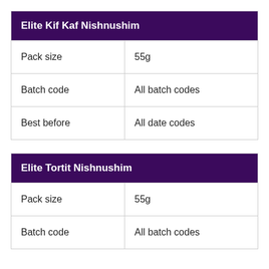| Elite Kif Kaf Nishnushim |  |
| --- | --- |
| Pack size | 55g |
| Batch code | All batch codes |
| Best before | All date codes |
| Elite Tortit Nishnushim |  |
| --- | --- |
| Pack size | 55g |
| Batch code | All batch codes |